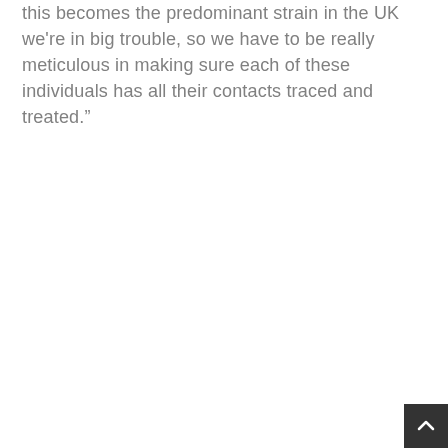this becomes the predominant strain in the UK we're in big trouble, so we have to be really meticulous in making sure each of these individuals has all their contacts traced and treated."